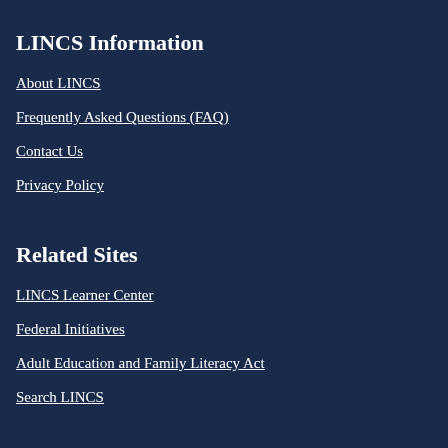LINCS Information
About LINCS
Frequently Asked Questions (FAQ)
Contact Us
Privacy Policy
Related Sites
LINCS Learner Center
Federal Initiatives
Adult Education and Family Literacy Act
Search LINCS